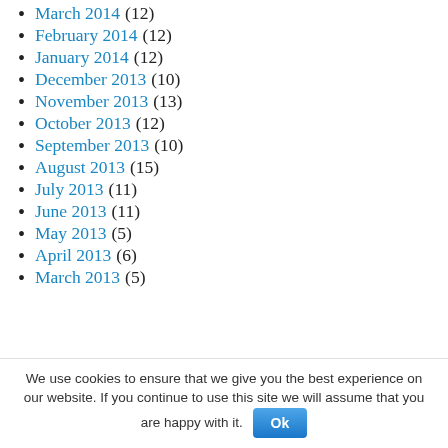March 2014 (12)
February 2014 (12)
January 2014 (12)
December 2013 (10)
November 2013 (13)
October 2013 (12)
September 2013 (10)
August 2013 (15)
July 2013 (11)
June 2013 (11)
May 2013 (5)
April 2013 (6)
March 2013 (5)
We use cookies to ensure that we give you the best experience on our website. If you continue to use this site we will assume that you are happy with it. Ok